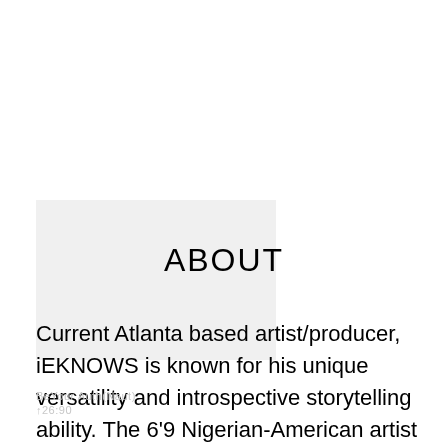[Figure (photo): Photo placeholder area at top of page, light gray box on left side]
ABOUT
Current Atlanta based artist/producer, iEKNOWS is known for his unique versatility and introspective storytelling ability. The 6'9 Nigerian-American artist was once a promising basketball recruit for Auburn University before a knee injury would cut his career short. During the rehab